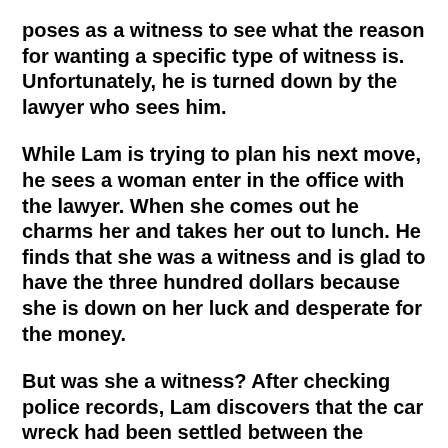poses as a witness to see what the reason for wanting a specific type of witness is. Unfortunately, he is turned down by the lawyer who sees him.
While Lam is trying to plan his next move, he sees a woman enter in the office with the lawyer. When she comes out he charms her and takes her out to lunch. He finds that she was a witness and is glad to have the three hundred dollars because she is down on her luck and desperate for the money.
But was she a witness? After checking police records, Lam discovers that the car wreck had been settled between the insurance companies a long time ago. So why is anyone offering money for something that doesn't need witnesses? Why does the insurance agent want something